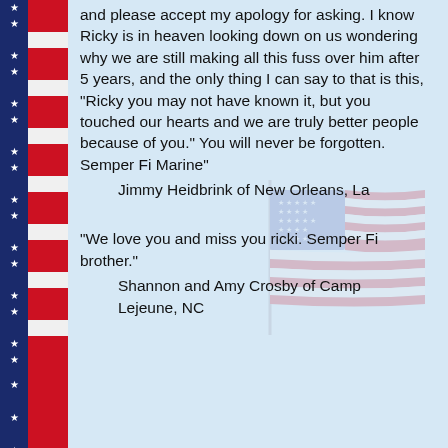[Figure (illustration): American flag stripe border on left side of page with blue star field and alternating red and white stripes]
and please accept my apology for asking. I know Ricky is in heaven looking down on us wondering why we are still making all this fuss over him after 5 years, and the only thing I can say to that is this, "Ricky you may not have known it, but you touched our hearts and we are truly better people because of you." You will never be forgotten. Semper Fi Marine"
        Jimmy Heidbrink of New Orleans, La
[Figure (illustration): Faded watermark of American flag waving on a pole, positioned in center-right of page]
"We love you and miss you ricki. Semper Fi brother."
        Shannon and Amy Crosby of Camp Lejeune, NC